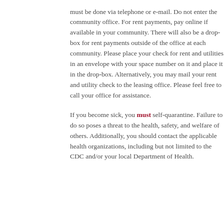must be done via telephone or e-mail. Do not enter the community office. For rent payments, pay online if available in your community. There will also be a drop-box for rent payments outside of the office at each community. Please place your check for rent and utilities in an envelope with your space number on it and place it in the drop-box. Alternatively, you may mail your rent and utility check to the leasing office. Please feel free to call your office for assistance.
If you become sick, you must self-quarantine. Failure to do so poses a threat to the health, safety, and welfare of others. Additionally, you should contact the applicable health organizations, including but not limited to the CDC and/or your local Department of Health.